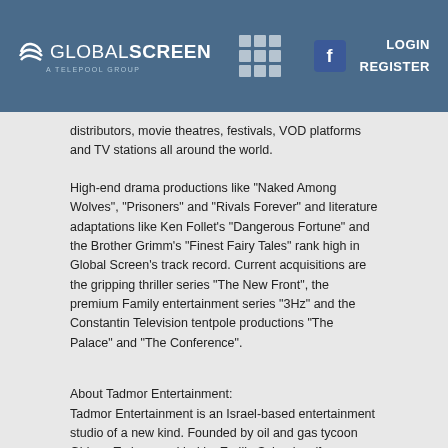[Figure (logo): Global Screen logo with navigation header including grid icon, Facebook icon, LOGIN and REGISTER links]
distributors, movie theatres, festivals, VOD platforms and TV stations all around the world.
High-end drama productions like “Naked Among Wolves”, “Prisoners” and “Rivals Forever” and literature adaptations like Ken Follet's “Dangerous Fortune” and the Brother Grimm's “Finest Fairy Tales” rank high in Global Screen’s track record. Current acquisitions are the gripping thriller series “The New Front”, the premium Family entertainment series “3Hz” and the Constantin Television tentpole productions “The Palace” and “The Conference”.
About Tadmor Entertainment:
Tadmor Entertainment is an Israel-based entertainment studio of a new kind. Founded by oil and gas tycoon Gideon Tadmor and led by Emilio Schenker (former CCO Zappa Group - Israel’s leading Live Entertainment Group), Shay Levin (former CFO Keshet International) and Michael Schmidt (Cofounder Red Arrow), the company builds a bridge for the outstanding Israeli talent and IP for the global entertainment market. Tadmor Entertainment is in a